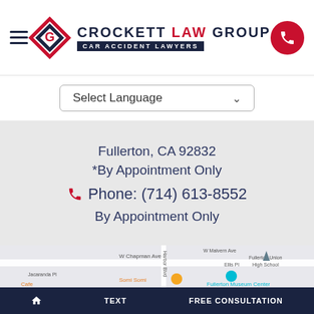[Figure (logo): Crockett Law Group logo with diamond shapes in red and navy, text 'CROCKETT LAW GROUP' and tagline 'CAR ACCIDENT LAWYERS' on dark navy background]
Select Language
Fullerton, CA 92832
*By Appointment Only
Phone: (714) 613-8552
By Appointment Only
[Figure (map): Google Maps showing area around W Chapman Ave and Harbor Blvd in Fullerton, CA, with markers for Somi Somi, Fullerton Museum Center, and Fullerton Union High School]
HOME   TEXT   FREE CONSULTATION